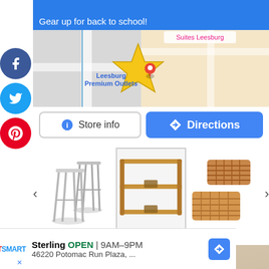Gear up for back to school!
[Figure (map): Google Maps showing location of Leesburg Premium Outlets with a red pin marker. Pink label shows 'Suites Leesburg' at the top. Yellow star shape marks the outlet location.]
Store info
Directions
[Figure (photo): Carousel of product images: two silver metal bar stools, a wooden wall-mounted rack/shelf, and two woven brown rectangular baskets]
[Figure (photo): Beige/tan gradient background image section]
Sterling  OPEN  9AM–9PM
46220 Potomac Run Plaza, ...